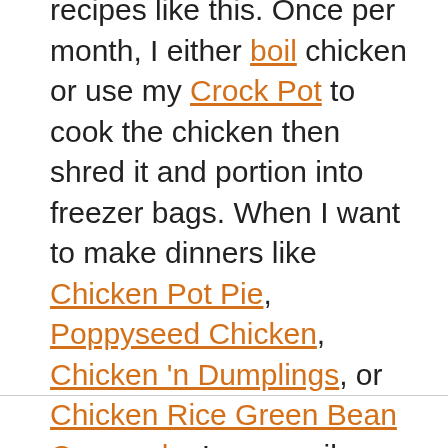recipes like this. Once per month, I either boil chicken or use my Crock Pot to cook the chicken then shred it and portion into freezer bags. When I want to make dinners like Chicken Pot Pie, Poppyseed Chicken, Chicken 'n Dumplings, or Chicken Rice Green Bean Casserole, I can easily grab a bag from the freezer!